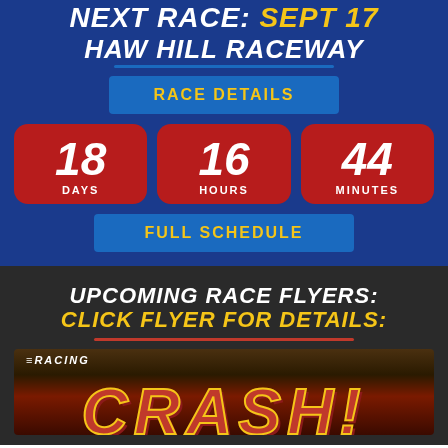NEXT RACE: SEPT 17
HAW HILL RACEWAY
RACE DETAILS
18 DAYS
16 HOURS
44 MINUTES
FULL SCHEDULE
UPCOMING RACE FLYERS:
CLICK FLYER FOR DETAILS:
[Figure (illustration): Racing flyer image showing stylized CRASH text in red and yellow with lightning bolts on a dark background]